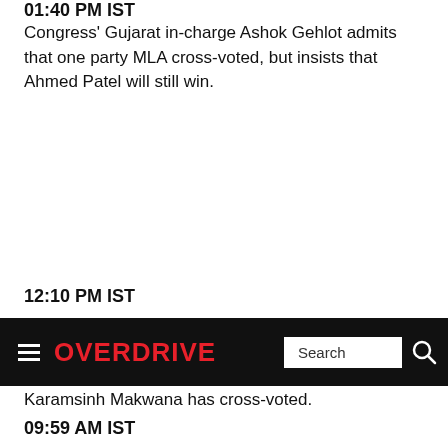01:40 PM IST
Congress' Gujarat in-charge Ashok Gehlot admits that one party MLA cross-voted, but insists that Ahmed Patel will still win.
12:10 PM IST
OVERDRIVE
Karamsinh Makwana has cross-voted.
09:59 AM IST
Some more bad news for the Congress. Senior party leader Arjun Modhwadia says that two party legislators who were part of the group that was shipped off to the Bengaluru resort have defied party orders and voted for the BJP candidate.
09:34 AM IST